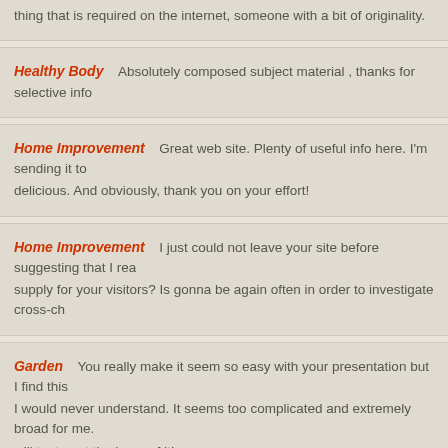thing that is required on the internet, someone with a bit of originality.
Healthy Body   Absolutely composed subject material , thanks for selective info
Home Improvement   Great web site. Plenty of useful info here. I'm sending it to delicious. And obviously, thank you on your effort!
Home Improvement   I just could not leave your site before suggesting that I rea supply for your visitors? Is gonna be again often in order to investigate cross-ch
Garden   You really make it seem so easy with your presentation but I find this I would never understand. It seems too complicated and extremely broad for me will try to get the hang of it!
Garden   Hi my family member! I want to say that this article is amazing, great infos. I would like to look extra posts like this.